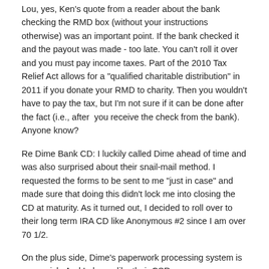Lou, yes, Ken's quote from a reader about the bank checking the RMD box (without your instructions otherwise) was an important point. If the bank checked it and the payout was made - too late. You can't roll it over and you must pay income taxes. Part of the 2010 Tax Relief Act allows for a "qualified charitable distribution" in 2011 if you donate your RMD to charity. Then you wouldn't have to pay the tax, but I'm not sure if it can be done after the fact (i.e., after  you receive the check from the bank). Anyone know?
Re Dime Bank CD: I luckily called Dime ahead of time and was also surprised about their snail-mail method. I requested the forms to be sent to me "just in case" and made sure that doing this didn't lock me into closing the CD at maturity. As it turned out, I decided to roll over to their long term IRA CD like Anonymous #2 since I am over 70 1/2.
On the plus side, Dime's paperwork processing system is very quick. And I always like their CSRs.
ALWAYS call the bank (any bank) as soon as you receive the maturity notice and find out all the details. It's up to you.
1 vote | Report Post | Reply
lou | Jul 18, 2011 | Comment #9
Jeanne, I am not sure what you mean by, " If the bank checked it and the payout was made - too late."  What do you mean by "too late"? Are you saying the CD owner did not meet the 60 day test? The 60 day time